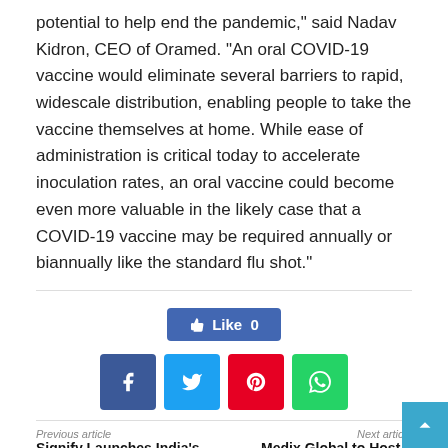potential to help end the pandemic," said Nadav Kidron, CEO of Oramed. "An oral COVID-19 vaccine would eliminate several barriers to rapid, widescale distribution, enabling people to take the vaccine themselves at home. While ease of administration is critical today to accelerate inoculation rates, an oral vaccine could become even more valuable in the likely case that a COVID-19 vaccine may be required annually or biannually like the standard flu shot."
[Figure (other): Facebook Like button showing Like 0]
[Figure (other): Social share buttons: Facebook, Twitter, Pinterest, WhatsApp]
Previous article: Signify Launches India's First | Next article: Medix Global to Host a Digital